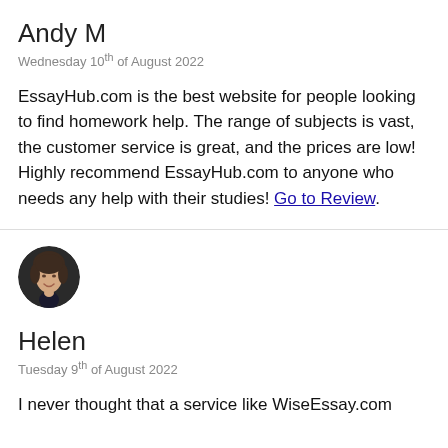Andy M
Wednesday 10th of August 2022
EssayHub.com is the best website for people looking to find homework help. The range of subjects is vast, the customer service is great, and the prices are low! Highly recommend EssayHub.com to anyone who needs any help with their studies! Go to Review.
[Figure (photo): Circular avatar photo of Helen, a woman with short dark hair, smiling]
Helen
Tuesday 9th of August 2022
I never thought that a service like WiseEssay.com